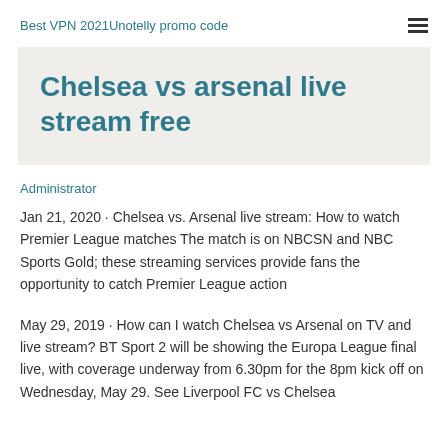Best VPN 2021Unotelly promo code
Chelsea vs arsenal live stream free
Administrator
Jan 21, 2020 · Chelsea vs. Arsenal live stream: How to watch Premier League matches The match is on NBCSN and NBC Sports Gold; these streaming services provide fans the opportunity to catch Premier League action
May 29, 2019 · How can I watch Chelsea vs Arsenal on TV and live stream? BT Sport 2 will be showing the Europa League final live, with coverage underway from 6.30pm for the 8pm kick off on Wednesday, May 29. See Liverpool FC vs Chelsea